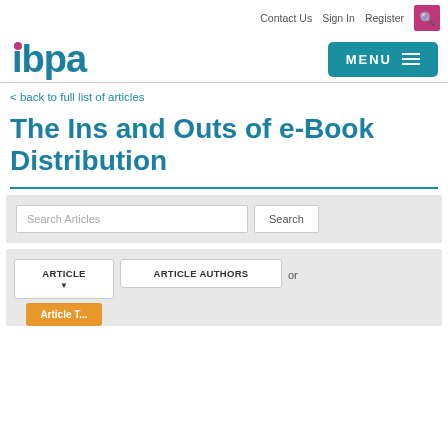Contact Us  Sign In  Register
[Figure (logo): IBPA logo with magenta dot above the 'i' and teal text]
MENU
The Ins and Outs of e-Book Distribution
< back to full list of articles
Search Articles  Search
ARTICLE  ARTICLE AUTHORS  or